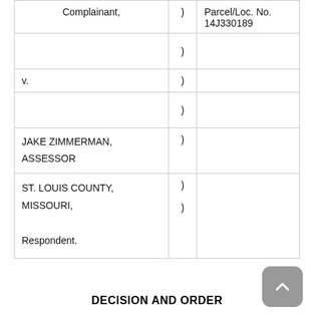| (left) | () | (right) |
| --- | --- | --- |
| Complainant, | ) | Parcel/Loc. No. 14J330189 |
|  | ) |  |
| v. | ) |  |
|  | ) |  |
| JAKE ZIMMERMAN, ASSESSOR | ) |  |
| ST. LOUIS COUNTY, MISSOURI,

Respondent. | )
) |  |
DECISION AND ORDER